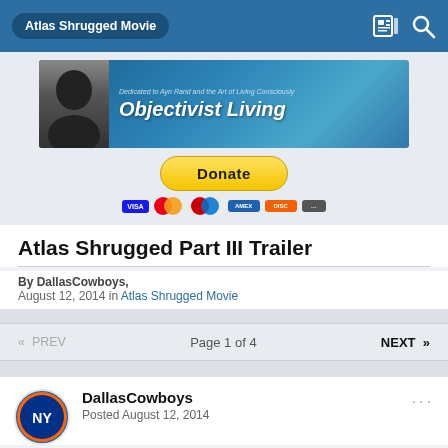Atlas Shrugged Movie
[Figure (photo): Objectivist Living banner – Dedicated to Ayn Rand and the Art of Living Consciously]
[Figure (other): PayPal Donate button with Visa, Mastercard, Discover and other payment icons]
Atlas Shrugged Part III Trailer
By DallasCowboys,
August 12, 2014 in Atlas Shrugged Movie
« PREV   Page 1 of 4   NEXT »
DallasCowboys
Posted August 12, 2014